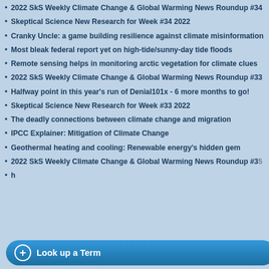2022 SkS Weekly Climate Change & Global Warming News Roundup #34
Skeptical Science New Research for Week #34 2022
Cranky Uncle: a game building resilience against climate misinformation
Most bleak federal report yet on high-tide/sunny-day tide floods
Remote sensing helps in monitoring arctic vegetation for climate clues
2022 SkS Weekly Climate Change & Global Warming News Roundup #33
Halfway point in this year's run of Denial101x - 6 more months to go!
Skeptical Science New Research for Week #33 2022
The deadly connections between climate change and migration
IPCC Explainer: Mitigation of Climate Change
Geothermal heating and cooling: Renewable energy's hidden gem
2022 SkS Weekly Climate Change & Global Warming News Roundup #35
| Depth | Value |  |
| --- | --- | --- |
| 0–100 m | 0.06 W m⁻² |  |
| 0–300 m | – |  |
| 0–700 m | – |  |
| 0–1800 m | – |  |
To be clear, there's nothing wrong with... (2013) fills in gaps in observations... well as using ocean models. The fa... Niño events suggests that the rea... data sets that cannot resolve the... observational data, including Cur... substantial deep ocean heat seques...
Science Isn't Done by Eyeballing...
Another problem with Curry's analysis... graph in Lyman & Johnson (2013) a...
[Figure (line-chart): Multi-line chart showing ocean heat content anomaly in ZJ, with y-axis ranging from -100 to 50 ZJ, showing multiple overlapping lines (solid black, dashed black, gray solid, gray dashed) representing different datasets or uncertainty bounds. A vertical black line marks a specific time point.]